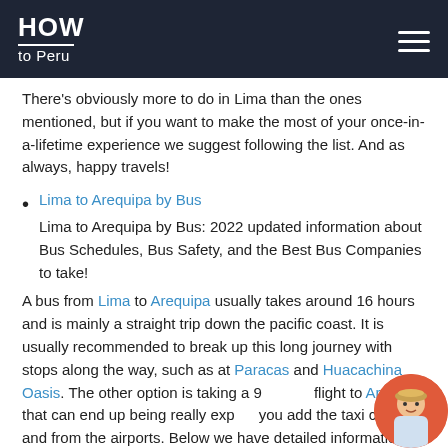HOW to Peru
There's obviously more to do in Lima than the ones mentioned, but if you want to make the most of your once-in-a-lifetime experience we suggest following the list. And as always, happy travels!
Lima to Arequipa by Bus
Lima to Arequipa by Bus: 2022 updated information about Bus Schedules, Bus Safety, and the Best Bus Companies to take!
A bus from Lima to Arequipa usually takes around 16 hours and is mainly a straight trip down the pacific coast. It is usually recommended to break up this long journey with stops along the way, such as at Paracas and Huacachina Oasis. The other option is taking a 9[...] flight to Arequipa that can end up being really exp[...] you add the taxi costs to and from the airports. Below we have detailed information about bus safety, the best bus